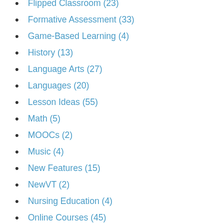Flipped Classroom (23)
Formative Assessment (33)
Game-Based Learning (4)
History (13)
Language Arts (27)
Languages (20)
Lesson Ideas (55)
Math (5)
MOOCs (2)
Music (4)
New Features (15)
NewVT (2)
Nursing Education (4)
Online Courses (45)
Pedagogy (39)
Peer-to-Peer (36)
Physical Education (1)